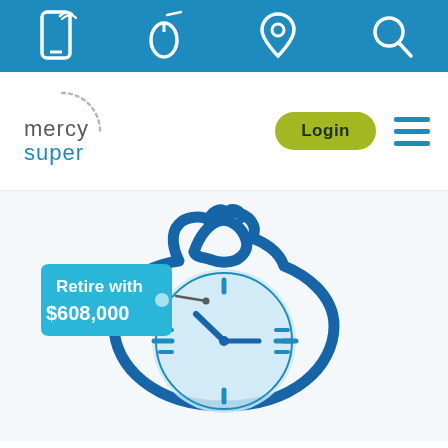[Figure (screenshot): Top navigation bar with icons: mobile phone, mouse/computer, location pin, and search/magnifying glass on a blue background]
[Figure (logo): Mercy Super logo with dotted arc, Login button in olive/yellow-green, and hamburger menu icon]
[Figure (illustration): Illustration of a money bag with a clock face inside, and a tag label reading 'Retire with $608,000'. The bag is outlined in dark blue with a light blue clock interior.]
...just $___